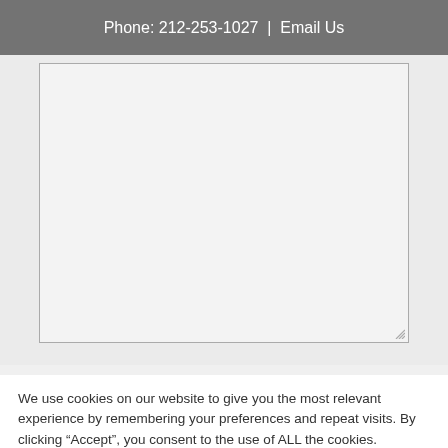Phone: 212-253-1027  |  Email Us
[Figure (screenshot): A large empty textarea input field with a light gray background and dark border, with a resize handle in the bottom-right corner.]
We use cookies on our website to give you the most relevant experience by remembering your preferences and repeat visits. By clicking “Accept”, you consent to the use of ALL the cookies.
Cookie settings  ACCEPT  Text a Lawyer Now!